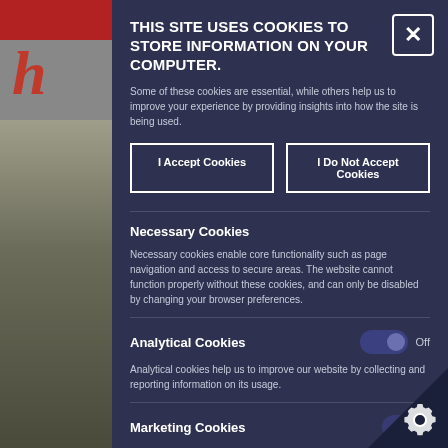[Figure (screenshot): Background webpage with red header bar and partial letter 'h' in red italic serif font and office chair photo]
THIS SITE USES COOKIES TO STORE INFORMATION ON YOUR COMPUTER.
Some of these cookies are essential, while others help us to improve your experience by providing insights into how the site is being used.
I Accept Cookies
I Do Not Accept Cookies
Necessary Cookies
Necessary cookies enable core functionality such as page navigation and access to secure areas. The website cannot function properly without these cookies, and can only be disabled by changing your browser preferences.
Analytical Cookies
Off
Analytical cookies help us to improve our website by collecting and reporting information on its usage.
Marketing Cookies